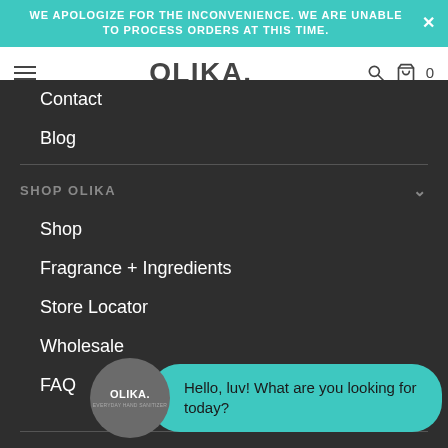WE APOLOGIZE FOR THE INCONVENIENCE. WE ARE UNABLE TO PROCESS ORDERS AT THIS TIME.
[Figure (logo): OLIKA brand logo in dark gray bold text with a period/dot after the name]
Contact
Blog
SHOP OLIKA
Shop
Fragrance + Ingredients
Store Locator
Wholesale
FAQ
TERMS
Shipping + Returns
[Figure (other): Chat widget showing OLIKA logo avatar and teal speech bubble saying 'Hello, luv! What are you looking for today?']